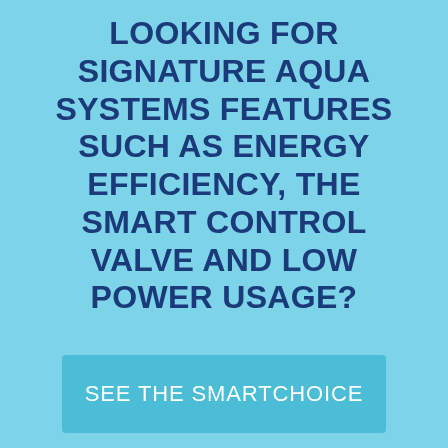LOOKING FOR SIGNATURE AQUA SYSTEMS FEATURES SUCH AS ENERGY EFFICIENCY, THE SMART CONTROL VALVE AND LOW POWER USAGE?
SEE THE SMARTCHOICE